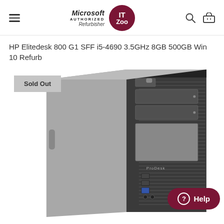Microsoft Authorized Refurbisher — IT Zoo (navigation header with hamburger menu, logo, search and cart icons)
HP Elitedesk 800 G1 SFF i5-4690 3.5GHz 8GB 500GB Win 10 Refurb
[Figure (photo): HP EliteDesk 800 G1 SFF desktop computer tower, dark grey/black color, shown from a front-left angle. Displays optical drive bays, USB ports, and audio jacks at the front. A 'Sold Out' badge overlays the upper-left of the image. A dark red 'Help' button appears in the lower-right corner of the image.]